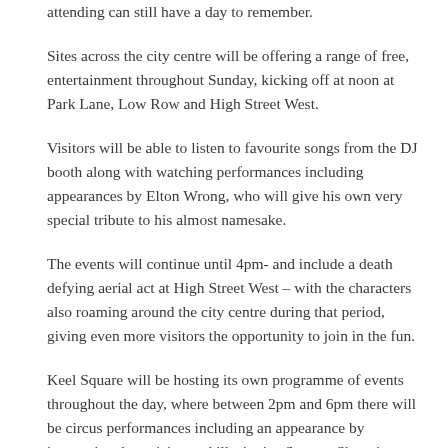attending can still have a day to remember.
Sites across the city centre will be offering a range of free, entertainment throughout Sunday, kicking off at noon at Park Lane, Low Row and High Street West.
Visitors will be able to listen to favourite songs from the DJ booth along with watching performances including appearances by Elton Wrong, who will give his own very special tribute to his almost namesake.
The events will continue until 4pm- and include a death defying aerial act at High Street West – with the characters also roaming around the city centre during that period, giving even more visitors the opportunity to join in the fun.
Keel Square will be hosting its own programme of events throughout the day, where between 2pm and 6pm there will be circus performances including an appearance by international magician and illusionist, Sammy Showtime,